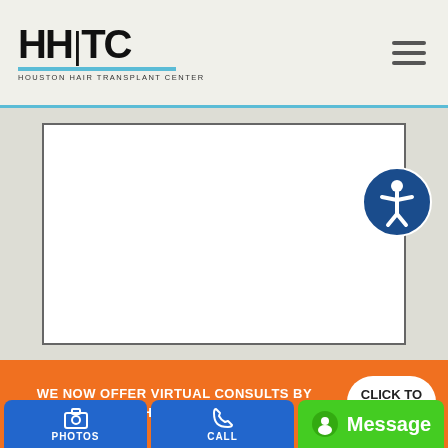HHTC - Houston Hair Transplant Center
[Figure (screenshot): Empty white iframe/content box with border]
[Figure (illustration): Accessibility icon button - circular blue button with person figure]
WE NOW OFFER VIRTUAL CONSULTS BY VIDEO, PHONE AND EMAIL.
CLICK TO START
PHOTOS
CALL
Message